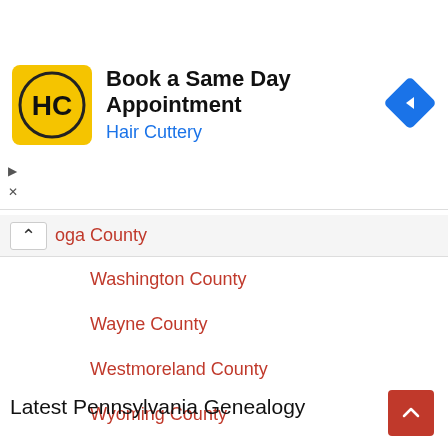[Figure (screenshot): Advertisement banner for Hair Cuttery: 'Book a Same Day Appointment' with yellow HC logo and blue navigation arrow icon. Includes ad controls (play and close buttons).]
oga County
Washington County
Wayne County
Westmoreland County
Wyoming County
York County
Latest Pennsylvania Genealogy